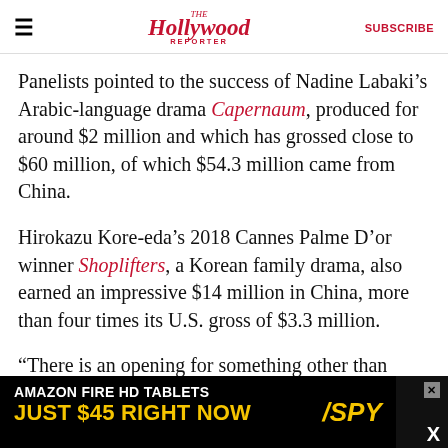The Hollywood Reporter — SUBSCRIBE
Panelists pointed to the success of Nadine Labaki’s Arabic-language drama Capernaum, produced for around $2 million and which has grossed close to $60 million, of which $54.3 million came from China.
Hirokazu Kore-eda’s 2018 Cannes Palme D’or winner Shoplifters, a Korean family drama, also earned an impressive $14 million in China, more than four times its U.S. gross of $3.3 million.
“There is an opening for something other than those big Chinese movies — there is an audience for specialty art films,” noted former Lionsgate co
[Figure (advertisement): Amazon Fire HD Tablets advertisement — Just $45 right now, with SPY logo]